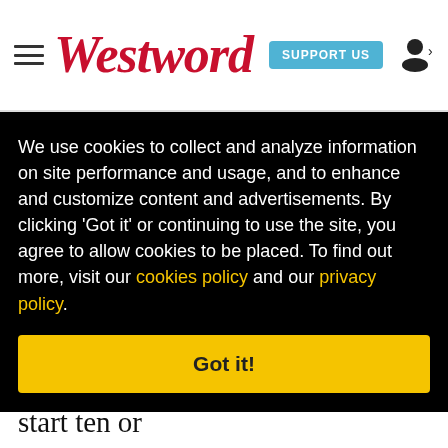Westword | SUPPORT US
points out that if a brewery, or any company, doesn't protect one of its brands, it stands the
We use cookies to collect and analyze information on site performance and usage, and to enhance and customize content and advertisements. By clicking 'Got it' or continuing to use the site, you agree to allow cookies to be placed. To find out more, visit our cookies policy and our privacy policy.
Got it!
Litigation, Cilurzo says it got its start ten or